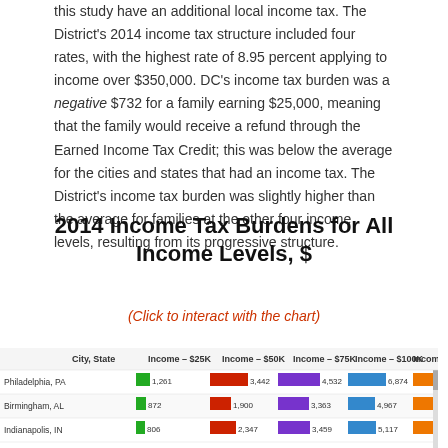this study have an additional local income tax. The District's 2014 income tax structure included four rates, with the highest rate of 8.95 percent applying to income over $350,000. DC's income tax burden was a negative $732 for a family earning $25,000, meaning that the family would receive a refund through the Earned Income Tax Credit; this was below the average for the cities and states that had an income tax. The District's income tax burden was slightly higher than the average for families at the other four income levels, resulting from its progressive structure.
2014 Income Tax Burdens for All Income Levels, $
(Click to interact with the chart)
[Figure (bar-chart): Horizontal grouped bar chart showing income tax burdens for cities at different income levels ($25K, $50K, $75K, $100K, $150K). Rows shown: Philadelphia PA, Birmingham AL, Indianapolis IN, and one more partially visible.]